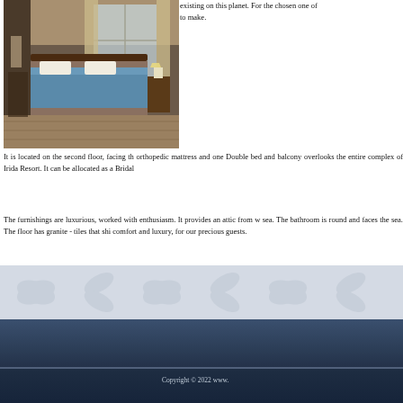[Figure (photo): Interior photo of a hotel room with a blue-covered bed, wooden furniture, and curtained windows]
existing on this planet. For the chosen one of to make.
It is located on the second floor, facing th orthopedic mattress and one Double bed and balcony overlooks the entire complex of Irida Resort. It can be allocated as a Bridal
The furnishings are luxurious, worked with enthusiasm. It provides an attic from w sea. The bathroom is round and faces the sea. The floor has granite - tiles that shi comfort and luxury, for our precious guests.
Copyright © 2022 www.